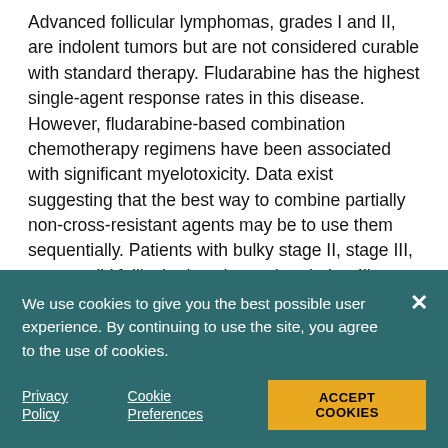Advanced follicular lymphomas, grades I and II, are indolent tumors but are not considered curable with standard therapy. Fludarabine has the highest single-agent response rates in this disease. However, fludarabine-based combination chemotherapy regimens have been associated with significant myelotoxicity. Data exist suggesting that the best way to combine partially non-cross-resistant agents may be to use them sequentially. Patients with bulky stage II, stage III, or stage IV follicular lymphoma (grade I or II) were entered on this protocol. Patients were treated with 3 cycles of fludarabine followed by 6-8 cycles of cyclophosphamide, mitoxantrone, vincristine, and prednisone (CNOP). Response was assessed after the 3(rd) cycle of fludarabine and after the 4(th), 6(th), and
We use cookies to give you the best possible user experience. By continuing to use the site, you agree to the use of cookies.
Privacy Policy   Cookie Preferences   ACCEPT COOKIES